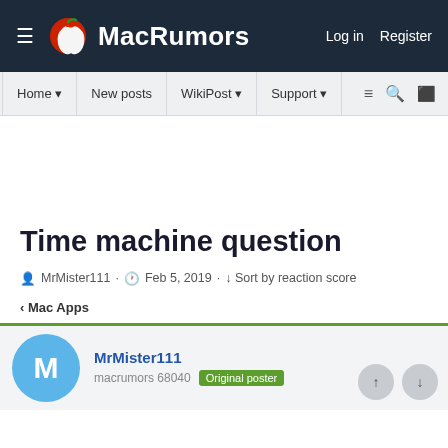MacRumors — Log in  Register
Home  New posts  WikiPost  Support
Time machine question
MrMister111 · Feb 5, 2019 · Sort by reaction score
< Mac Apps
MrMister111
macrumors 68040  Original poster